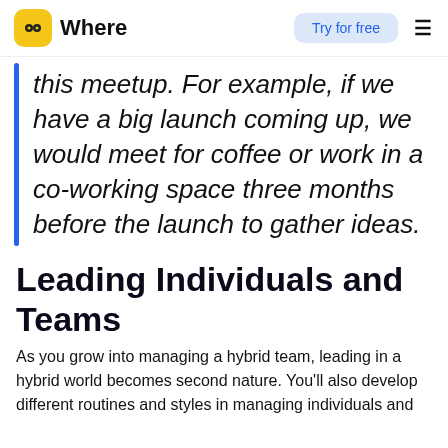Where | Try for free
this meetup. For example, if we have a big launch coming up, we would meet for coffee or work in a co-working space three months before the launch to gather ideas.
Leading Individuals and Teams
As you grow into managing a hybrid team, leading in a hybrid world becomes second nature. You'll also develop different routines and styles in managing individuals and